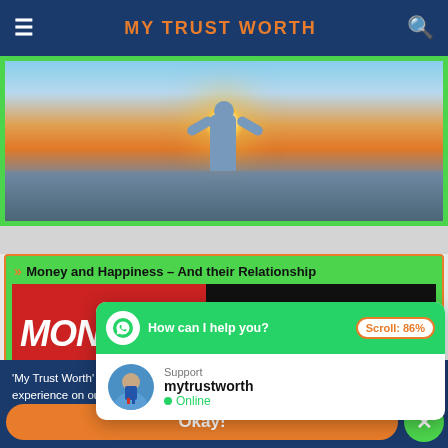MY TRUST WORTH
[Figure (photo): Person with arms raised silhouetted against a sunset over the ocean, with a green border frame]
Money and Happiness – And their Relationship
[Figure (illustration): Article thumbnail showing MONEY BUYS HAPPINESS? text on red and black background]
'My Trust Worth' uses c… experience on our websi…
[Figure (screenshot): WhatsApp chat popup with green header saying 'How can I help you?', scroll badge showing 86%, and support agent mytrustworth shown as Online]
Okay!